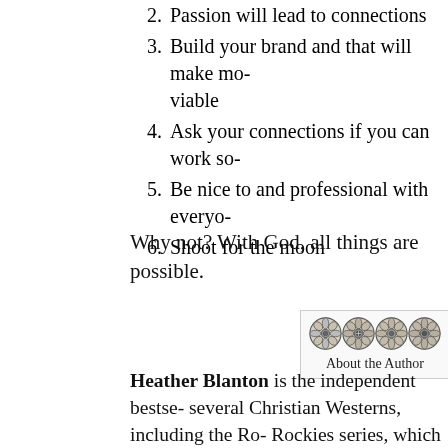2. Passion will lead to connections
3. Build your brand and that will make mo- viable
4. Ask your connections if you can work so-
5. Be nice to and professional with everyo-
6. Shoot for the moon
Why not? With God, all things are possible.
[Figure (illustration): Four ornate flower/rosette decorative icons in a bordered box labeled About the Author]
About the Author
Heather Blanton is the independent bestse- several Christian Westerns, including the Ro- Rockies series, which has sold over 40,000 c- the concept of three good sisters stranded in- mining town, a few notable Hollywood produ-